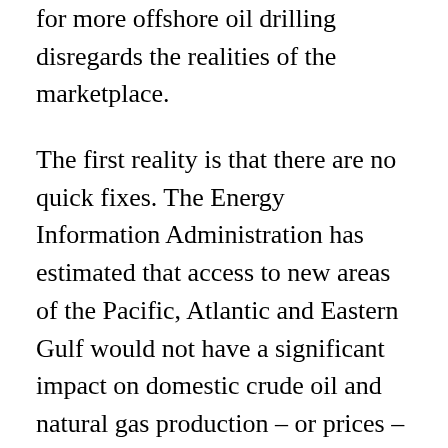for more offshore oil drilling disregards the realities of the marketplace.
The first reality is that there are no quick fixes. The Energy Information Administration has estimated that access to new areas of the Pacific, Atlantic and Eastern Gulf would not have a significant impact on domestic crude oil and natural gas production – or prices – before 2030, Hoffman said in a recent telephone interview.
“What offshore oil will do is it will move profits from places like Russia, Saudi Arabia, and Venezuela and move it into the